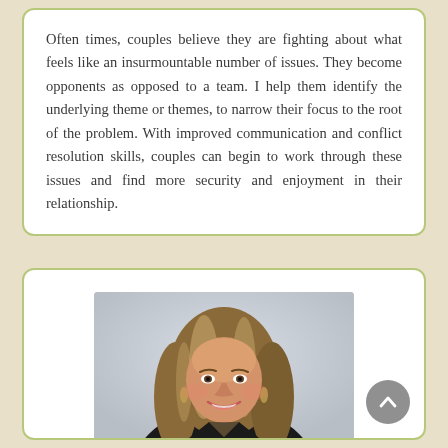Often times, couples believe they are fighting about what feels like an insurmountable number of issues. They become opponents as opposed to a team. I help them identify the underlying theme or themes, to narrow their focus to the root of the problem. With improved communication and conflict resolution skills, couples can begin to work through these issues and find more security and enjoyment in their relationship.
[Figure (photo): Professional headshot of a woman with long blonde-brown highlighted hair, wearing a dark blazer, smiling, against a light grey background.]